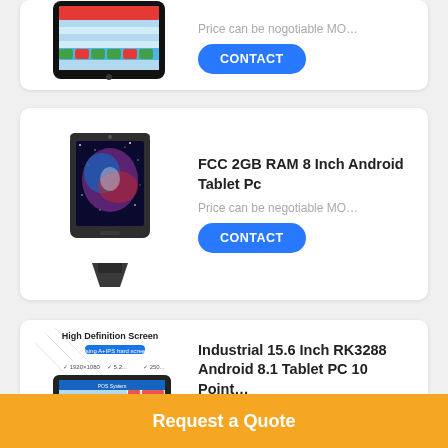[Figure (screenshot): Tablet with POS/dashboard interface, green and red colored buttons, partial view at top of page]
Price can be nogotiable MO…
CONTACT
[Figure (photo): FCC 2GB RAM 8 Inch Android Tablet PC on a stand, showing galaxy/space image on screen]
FCC 2GB RAM 8 Inch Android Tablet Pc
Price can be negotiable MO…
CONTACT
[Figure (screenshot): Industrial 15.6 inch tablet PC with High Definition Screen label, showing POS software interface]
Industrial 15.6 Inch RK3288 Android 8.1 Tablet PC 10 Point…
Price can be nogotiable MOQ:2
CONTACT
Request a Quote